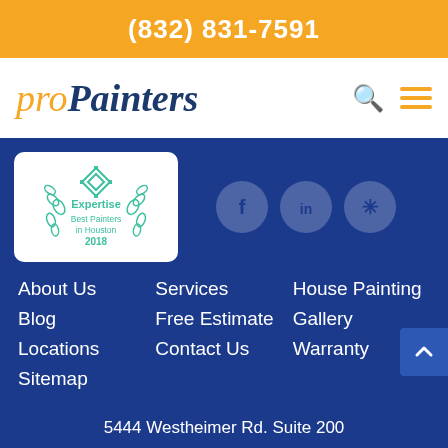(832) 831-7591
[Figure (logo): proPainters logo with orange 'pro' italic and dark blue bold 'Painters' italic text, plus search and hamburger menu icons]
[Figure (logo): Expertise Best Painters in Houston 2018 badge with teal diamond/wreath design on white rounded rectangle background]
[Figure (illustration): Social media icons: Facebook (f), LinkedIn (in), Yelp (asterisk-like) in semi-transparent white circles on blue background]
About Us
Services
House Painting
Blog
Free Estimate
Gallery
Locations
Contact Us
Warranty
Sitemap
5444 Westheimer Rd. Suite 200